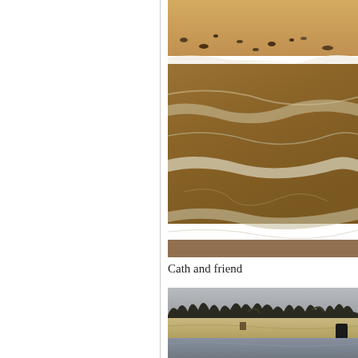[Figure (photo): A sandy beach with waves washing up on shore, brownish sandy water with white foam from waves, taken at low angle showing wet sand and ocean waves]
Cath and friend
[Figure (photo): A beach scene with trees in the background silhouetted against a grey sky, and what appears to be a dark figure or object in the lower right, showing a wide sandy beach]